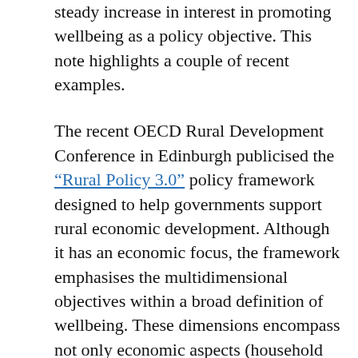steady increase in interest in promoting wellbeing as a policy objective. This note highlights a couple of recent examples.

The recent OECD Rural Development Conference in Edinburgh publicised the "Rural Policy 3.0" policy framework designed to help governments support rural economic development. Although it has an economic focus, the framework emphasises the multidimensional objectives within a broad definition of wellbeing. These dimensions encompass not only economic aspects (household incomes, employment and productive and competitive firms), but also the social (access to services alongside a cohesive